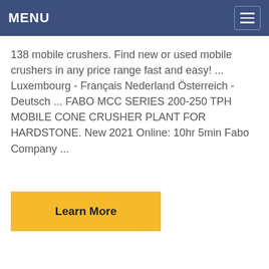MENU
138 mobile crushers. Find new or used mobile crushers in any price range fast and easy! ... Luxembourg - Français Nederland Österreich - Deutsch ... FABO MCC SERIES 200-250 TPH MOBILE CONE CRUSHER PLANT FOR HARDSTONE. New 2021 Online: 10hr 5min Fabo Company ...
Learn More